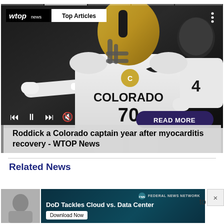[Figure (screenshot): WTOP News video player showing a Colorado football player (#70) in white jersey. Player is in action on field. Video controls visible at bottom including skip, pause, forward, mute buttons and READ MORE button. Top Articles badge visible. Article title overlay at bottom reads 'Roddick a Colorado captain year after myocarditis recovery - WTOP News'.]
Roddick a Colorado captain year after myocarditis recovery - WTOP News
Related News
[Figure (screenshot): Advertisement banner: DoD Tackles Cloud vs. Data Center - Federal News Network - Download Now]